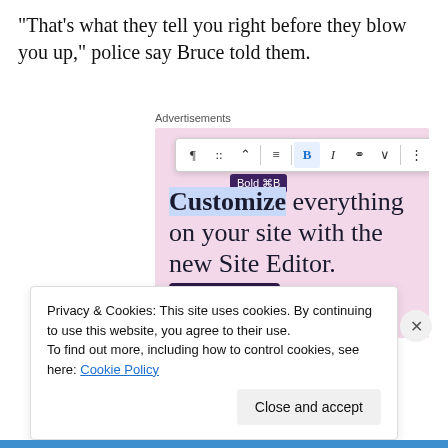“That’s what they tell you right before they blow you up,” police say Bruce told them.
Advertisements
[Figure (screenshot): WordPress advertisement showing a text editing toolbar with Bold tooltip visible, headline 'Customize everything on your site with the new Site Editor.' on pink background with 'Start Today' button]
Privacy & Cookies: This site uses cookies. By continuing to use this website, you agree to their use.
To find out more, including how to control cookies, see here: Cookie Policy